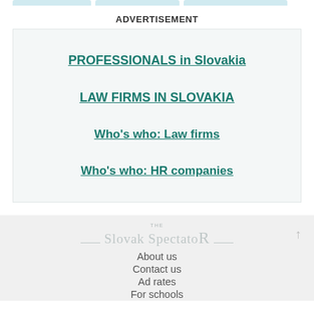ADVERTISEMENT
PROFESSIONALS in Slovakia
LAW FIRMS IN SLOVAKIA
Who's who: Law firms
Who's who: HR companies
[Figure (logo): The Slovak Spectator logo in light gray]
About us
Contact us
Ad rates
For schools